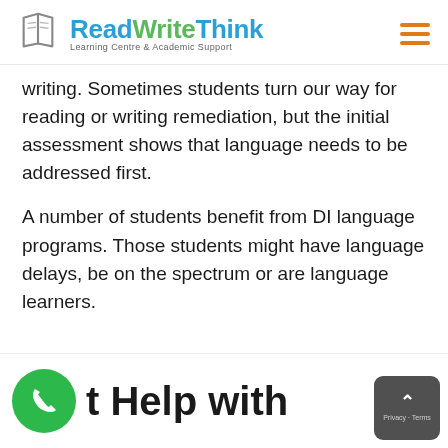[Figure (logo): ReadWriteThink logo with open book icon, text 'Read' in blue, 'Write' in green, 'Think' in blue, tagline 'Learning Centre & Academic Support', and orange hamburger menu icon]
writing. Sometimes students turn our way for reading or writing remediation, but the initial assessment shows that language needs to be addressed first.
A number of students benefit from DI language programs. Those students might have language delays, be on the spectrum or are language learners.
t Help with